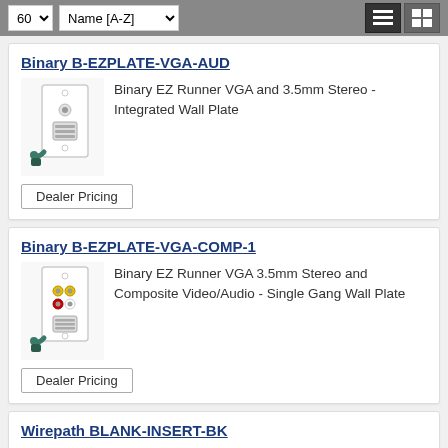60 | Name [A-Z]
Binary B-EZPLATE-VGA-AUD
Binary EZ Runner VGA and 3.5mm Stereo - Integrated Wall Plate
Dealer Pricing
Binary B-EZPLATE-VGA-COMP-1
Binary EZ Runner VGA 3.5mm Stereo and Composite Video/Audio - Single Gang Wall Plate
Dealer Pricing
Wirepath BLANK-INSERT-BK
Wirepath Blank Keystone Snap-in 10-Pack - Black